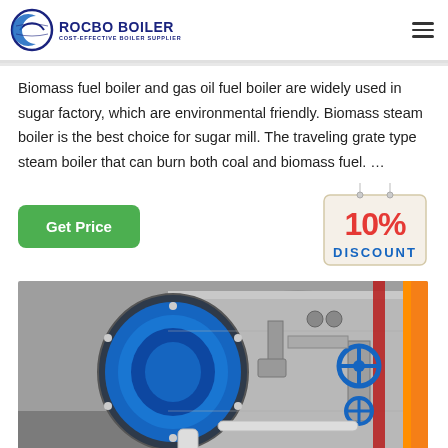[Figure (logo): Rocbo Boiler logo with crescent/circle icon and text ROCBO BOILER, COST-EFFECTIVE BOILER SUPPLIER]
Biomass fuel boiler and gas oil fuel boiler are widely used in sugar factory, which are environmental friendly. Biomass steam boiler is the best choice for sugar mill. The traveling grate type steam boiler that can burn both coal and biomass fuel. …
[Figure (infographic): 10% DISCOUNT badge in red and yellow with hanging sign style]
[Figure (photo): Industrial boiler equipment photo showing large cylindrical boiler vessel with blue flange, pipes, valves and yellow column in an industrial facility]